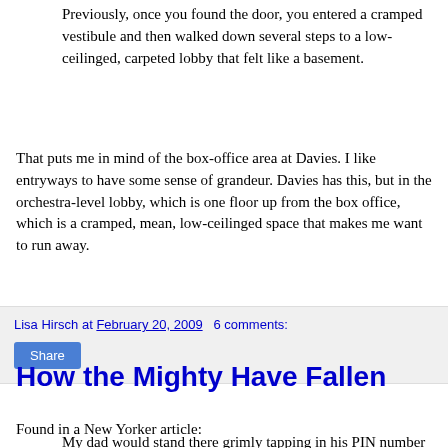Previously, once you found the door, you entered a cramped vestibule and then walked down several steps to a low-ceilinged, carpeted lobby that felt like a basement.
That puts me in mind of the box-office area at Davies. I like entryways to have some sense of grandeur. Davies has this, but in the orchestra-level lobby, which is one floor up from the box office, which is a cramped, mean, low-ceilinged space that makes me want to run away.
Lisa Hirsch at February 20, 2009   6 comments:
Share
How the Mighty Have Fallen
Found in a New Yorker article:
My dad would stand there grimly tapping in his PIN number while I hung onto his arm and